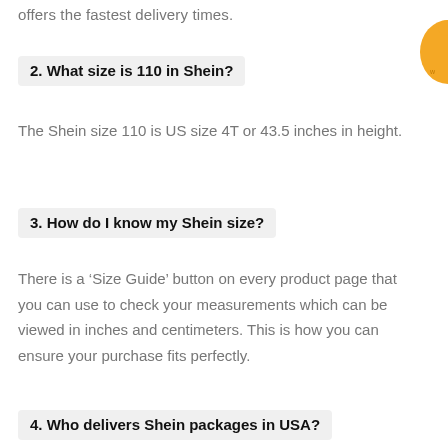offers the fastest delivery times.
2. What size is 110 in Shein?
The Shein size 110 is US size 4T or 43.5 inches in height.
3. How do I know my Shein size?
There is a ‘Size Guide’ button on every product page that you can use to check your measurements which can be viewed in inches and centimeters. This is how you can ensure your purchase fits perfectly.
4. Who delivers Shein packages in USA?